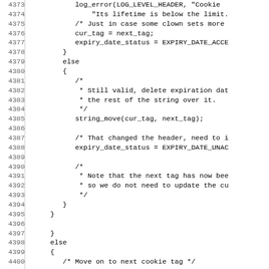[Figure (screenshot): Source code listing showing C code with line numbers 4373-4405, featuring cookie expiry date handling logic with if/else blocks, comments, and function calls like log_error, string_move, and assignments to cur_tag and expiry_date_status variables.]